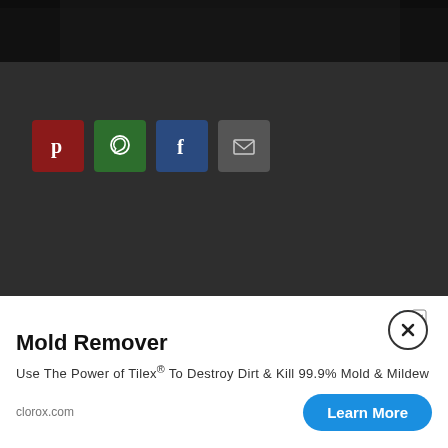[Figure (photo): Dark photograph visible at top of page, partially cropped]
[Figure (infographic): Social share buttons: Pinterest (red), WhatsApp (green), Facebook (dark blue), Email (grey)]
[Figure (screenshot): Advertisement popup for Mold Remover by clorox.com with a close button (X), Tilex product, and Learn More CTA button]
Mold Remover
Use The Power of Tilex® To Destroy Dirt & Kill 99.9% Mold & Mildew
clorox.com